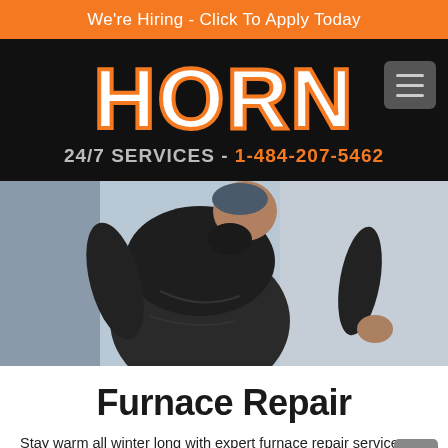We're Hiring - Click To Apply Today
HORN 24/7 SERVICES - 1-484-207-5462
[Figure (photo): A technician or worker in a dark shirt seen from behind, appearing to work on a wall or HVAC unit, with a light grey/blue background.]
Furnace Repair
Stay warm all winter long with expert furnace repair services from Horn. Whether your furnace is natural gas,